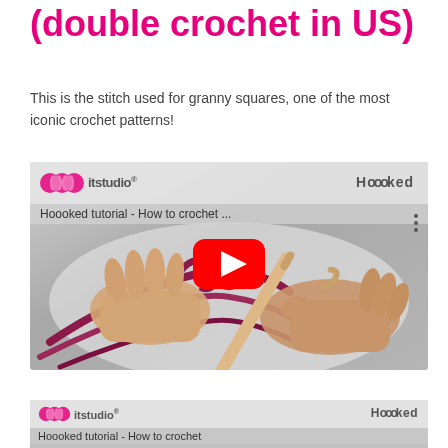(double crochet in US)
This is the stitch used for granny squares, one of the most iconic crochet patterns!
[Figure (screenshot): YouTube video thumbnail showing hands crocheting with dark pink/burgundy yarn and a wooden crochet hook. Video title: 'Hoooked tutorial - How to crochet ...' with itstudio and Hoooked branding. Large red play button in center.]
[Figure (screenshot): Second YouTube video thumbnail (partially visible at bottom) showing same branding: itstudio logo, Hoooked text, title 'Hoooked tutorial - How to crochet'.]